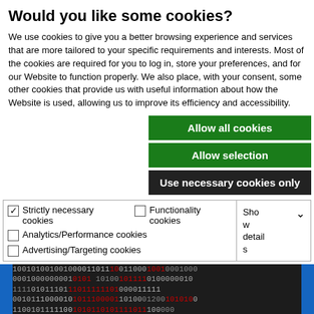Would you like some cookies?
We use cookies to give you a better browsing experience and services that are more tailored to your specific requirements and interests. Most of the cookies are required for you to log in, store your preferences, and for our Website to function properly. We also place, with your consent, some other cookies that provide us with useful information about how the Website is used, allowing us to improve its efficiency and accessibility.
Allow all cookies
Allow selection
Use necessary cookies only
| ✓ Strictly necessary cookies | ☐ Functionality cookies | Show details ▾ |
| ☐ Analytics/Performance cookies |  |  |
| ☐ Advertising/Targeting cookies |  |  |
[Figure (photo): Close-up of binary code (0s and 1s) on a dark background with some digits highlighted in red, forming a heart shape. Blue vertical bars on left and right edges.]